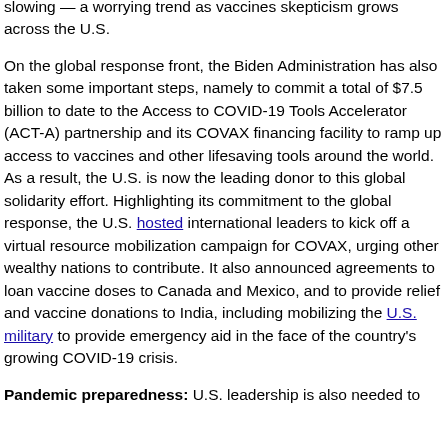slowing — a worrying trend as vaccines skepticism grows across the U.S.
On the global response front, the Biden Administration has also taken some important steps, namely to commit a total of $7.5 billion to date to the Access to COVID-19 Tools Accelerator (ACT-A) partnership and its COVAX financing facility to ramp up access to vaccines and other lifesaving tools around the world. As a result, the U.S. is now the leading donor to this global solidarity effort. Highlighting its commitment to the global response, the U.S. hosted international leaders to kick off a virtual resource mobilization campaign for COVAX, urging other wealthy nations to contribute. It also announced agreements to loan vaccine doses to Canada and Mexico, and to provide relief and vaccine donations to India, including mobilizing the U.S. military to provide emergency aid in the face of the country's growing COVID-19 crisis.
Pandemic preparedness: U.S. leadership is also needed to